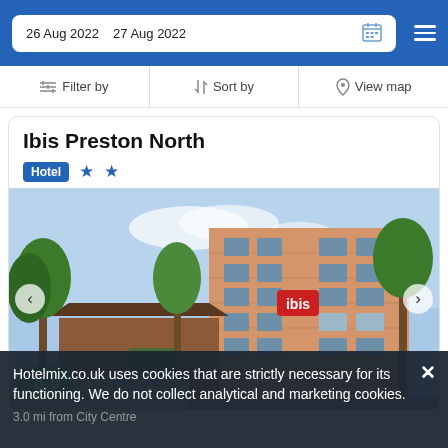26 Aug 2022  27 Aug 2022
Filter by   Sort by   View map
Ibis Preston North
Hotel ★★
[Figure (photo): Exterior photo of Ibis Preston North hotel building, a brick multi-storey building with red ibis logo sign, surrounded by trees under a blue sky.]
8.0
Hotelmix.co.uk uses cookies that are strictly necessary for its functioning. We do not collect analytical and marketing cookies.
3.0 mi from City Centre